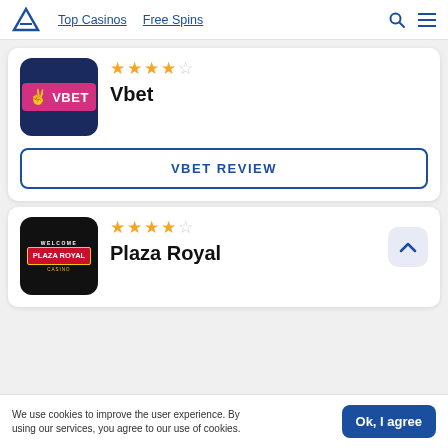Top Casinos | Free Spins
[Figure (screenshot): Vbet casino logo — dark navy background with pink banner and VBET text with peace hand sign]
[Figure (other): 4.5 out of 5 stars rating for Vbet]
Vbet
VBET REVIEW
[Figure (screenshot): Plaza Royal Casino logo — black background with red sign and gold border, Welcome Plaza Royal Casino text]
[Figure (other): 4.5 out of 5 stars rating for Plaza Royal]
Plaza Royal
We use cookies to improve the user experience. By using our services, you agree to our use of cookies.
Ok, I agree